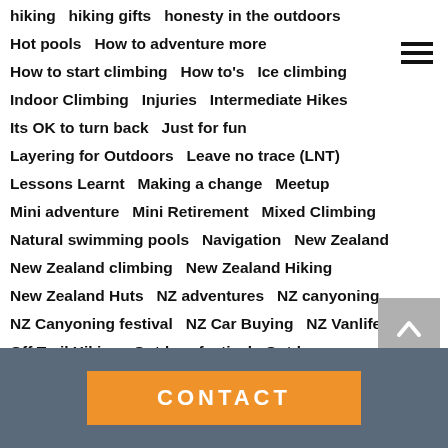hiking   hiking gifts   honesty in the outdoors
Hot pools   How to adventure more
How to start climbing   How to's   Ice climbing
Indoor Climbing   Injuries   Intermediate Hikes
Its OK to turn back   Just for fun
Layering for Outdoors   Leave no trace (LNT)
Lessons Learnt   Making a change   Meetup
Mini adventure   Mini Retirement   Mixed Climbing
Natural swimming pools   Navigation   New Zealand
New Zealand climbing   New Zealand Hiking
New Zealand Huts   NZ adventures   NZ canyoning
NZ Canyoning festival   NZ Car Buying   NZ Vanlife
Off Trail Hiking   Outdoor festival   Outdoors
Outdoors in Winter   Overtourism   Portaledge
CONTACT